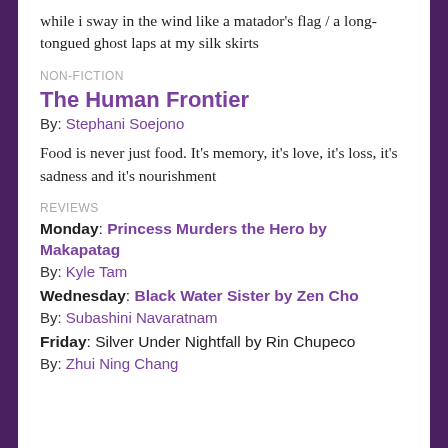while i sway in the wind like a matador's flag / a long-tongued ghost laps at my silk skirts
NON-FICTION
The Human Frontier
By: Stephani Soejono
Food is never just food. It's memory, it's love, it's loss, it's sadness and it's nourishment
REVIEWS
Monday: Princess Murders the Hero by Makapatag
By: Kyle Tam
Wednesday: Black Water Sister by Zen Cho
By: Subashini Navaratnam
Friday: Silver Under Nightfall by Rin Chupeco
By: Zhui Ning Chang